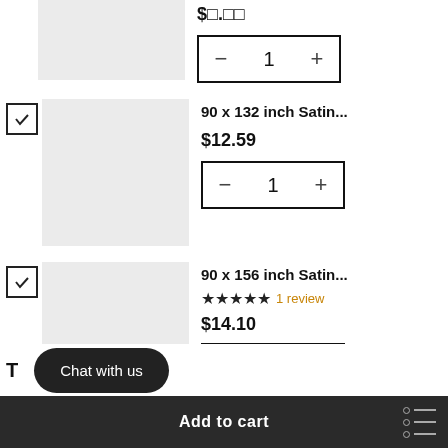[Figure (screenshot): Top partial product row showing quantity control with minus, 1, plus buttons]
[Figure (screenshot): Product image placeholder (grey box) for 90x132 inch Satin tablecloth]
90 x 132 inch Satin...
$12.59
[Figure (screenshot): Quantity control: minus 1 plus]
[Figure (screenshot): Product image placeholder (grey box) for 90x156 inch Satin tablecloth]
90 x 156 inch Satin...
★★★★★ 1 review
$14.10
[Figure (screenshot): Quantity control: minus 1 plus]
Chat with us
Add to cart